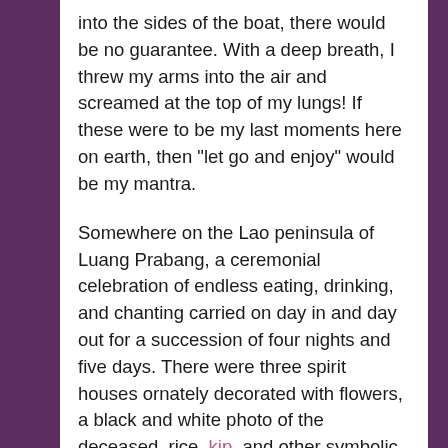into the sides of the boat, there would be no guarantee. With a deep breath, I threw my arms into the air and screamed at the top of my lungs! If these were to be my last moments here on earth, then "let go and enjoy" would be my mantra.

Somewhere on the Lao peninsula of Luang Prabang, a ceremonial celebration of endless eating, drinking, and chanting carried on day in and day out for a succession of four nights and five days. There were three spirit houses ornately decorated with flowers, a black and white photo of the deceased, rice, kip, and other symbolic offerings. Candles burned well into the night and throughout the day. There was a continuous flow of lay-people and monks passing by. As night fell, many would camp out on the cold tiled floor searching for warmth against the unusual winter chill. The music continued. Food was served. People laughed. Some played cards and many drank.